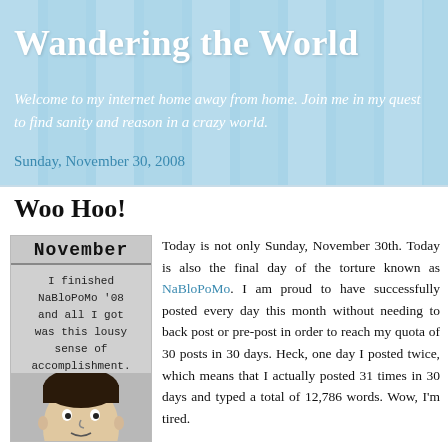Wandering the World
Welcome to my internet home away from home. Join me in my quest to find sanity and reason in a crazy world.
Sunday, November 30, 2008
Woo Hoo!
[Figure (illustration): A badge-style illustration with 'November' header and text reading 'I finished NaBloPoMo '08 and all I got was this lousy sense of accomplishment.' with a cartoon face at the bottom.]
Today is not only Sunday, November 30th. Today is also the final day of the torture known as NaBloPoMo. I am proud to have successfully posted every day this month without needing to back post or pre-post in order to reach my quota of 30 posts in 30 days. Heck, one day I posted twice, which means that I actually posted 31 times in 30 days and typed a total of 12,786 words. Wow, I'm tired.